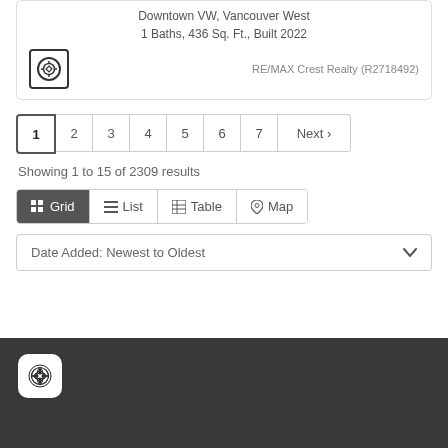Downtown VW, Vancouver West
1 Baths, 436 Sq. Ft., Built 2022
RE/MAX Crest Realty (R2718492)
1 2 3 4 5 6 7 Next >
Showing 1 to 15 of 2309 results
Grid  List  Table  Map
Date Added: Newest to Oldest